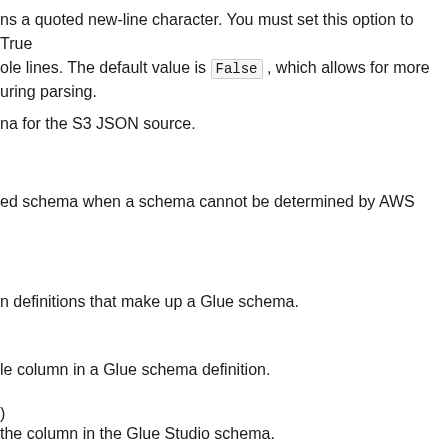ns a quoted new-line character. You must set this option to True ole lines. The default value is False , which allows for more uring parsing.
na for the S3 JSON source.
ed schema when a schema cannot be determined by AWS
n definitions that make up a Glue schema.
le column in a Glue schema definition.
)
the column in the Glue Studio schema.